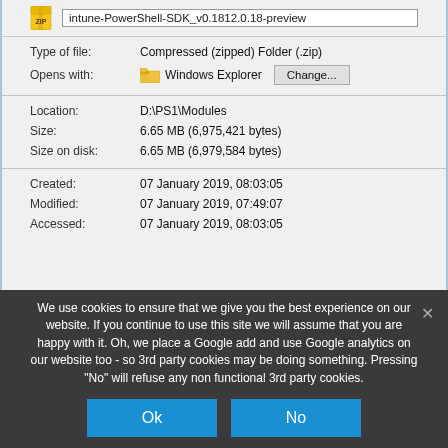[Figure (screenshot): Windows file properties dialog showing a compressed zip file. Top bar shows zip icon and filename 'intune-PowerShell-SDK_v0.1812.0.18-preview'. Properties shown: Type of file: Compressed (zipped) Folder (.zip), Opens with: Windows Explorer with Change button, Location: D:\PS1\Modules, Size: 6.65 MB (6,975,421 bytes), Size on disk: 6.65 MB (6,979,584 bytes), Created: 07 January 2019, 08:03:05, Modified: 07 January 2019, 07:49:07, Accessed: 07 January 2019, 08:03:05]
We use cookies to ensure that we give you the best experience on our website. If you continue to use this site we will assume that you are happy with it. Oh, we place a Google add and use Google analytics on our website too - so 3rd party cookies may be doing something. Pressing "No" will refuse any non functional 3rd party cookies.